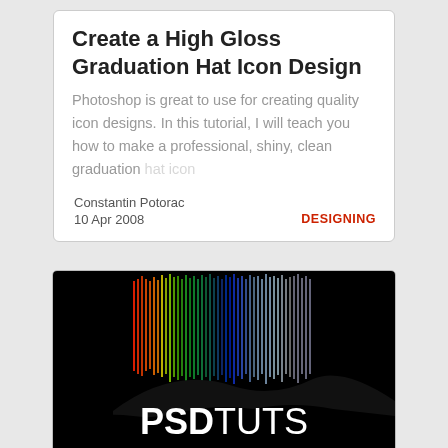Create a High Gloss Graduation Hat Icon Design
Photoshop is great to use for creating quality icon designs. In this tutorial, I will teach you how to make a professional, shiny, clean graduation hat icon
Constantin Potorac
10 Apr 2008
DESIGNING
[Figure (logo): PSDTUTS logo on black background with colorful vertical light streaks and a dark hill silhouette]